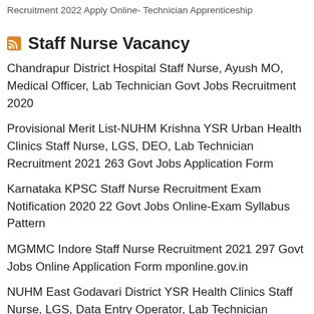Recruitment 2022 Apply Online- Technician Apprenticeship
Staff Nurse Vacancy
Chandrapur District Hospital Staff Nurse, Ayush MO, Medical Officer, Lab Technician Govt Jobs Recruitment 2020
Provisional Merit List-NUHM Krishna YSR Urban Health Clinics Staff Nurse, LGS, DEO, Lab Technician Recruitment 2021 263 Govt Jobs Application Form
Karnataka KPSC Staff Nurse Recruitment Exam Notification 2020 22 Govt Jobs Online-Exam Syllabus Pattern
MGMMC Indore Staff Nurse Recruitment 2021 297 Govt Jobs Online Application Form mponline.gov.in
NUHM East Godavari District YSR Health Clinics Staff Nurse, LGS, Data Entry Operator, Lab Technician